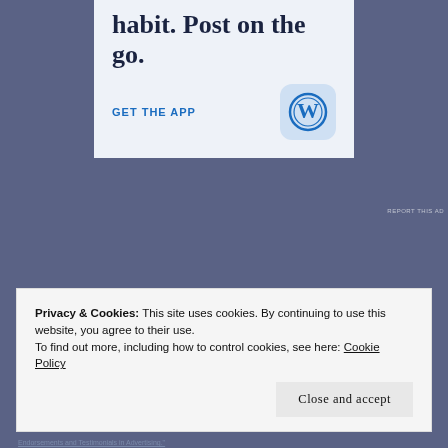[Figure (screenshot): WordPress app advertisement banner with large serif headline text 'habit. Post on the go.', a 'GET THE APP' link in blue, and WordPress logo icon on light blue background]
REPORT THIS AD
Privacy & Cookies: This site uses cookies. By continuing to use this website, you agree to their use.
To find out more, including how to control cookies, see here: Cookie Policy
Close and accept
Endorsements and Testimonials in Advertising."